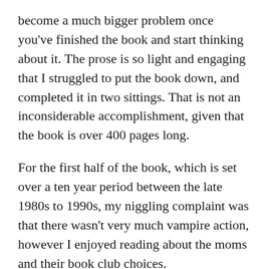become a much bigger problem once you've finished the book and start thinking about it. The prose is so light and engaging that I struggled to put the book down, and completed it in two sittings. That is not an inconsiderable accomplishment, given that the book is over 400 pages long.
For the first half of the book, which is set over a ten year period between the late 1980s to 1990s, my niggling complaint was that there wasn't very much vampire action, however I enjoyed reading about the moms and their book club choices.
However, the second half of the book revealed bigger issues for me, which caused much discussion in my head about what I wanted the book to be, what it was, and whether I was being unfair on the latter because of the former.
Recently I read The Odyssey. You may have read my review…